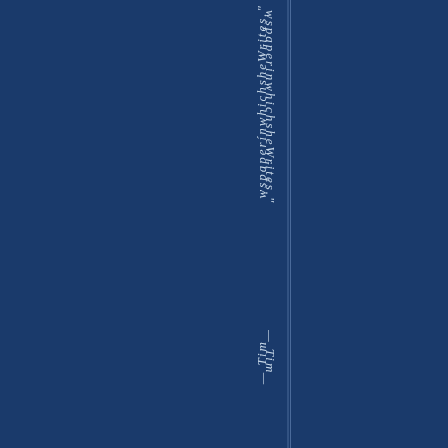wspaperinwhichsheWrites." —Tim